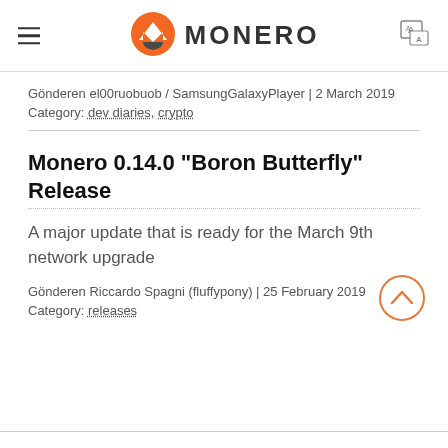MONERO
Gönderen el00ruobuob / SamsungGalaxyPlayer | 2 March 2019
Category: dev diaries, crypto
Monero 0.14.0 "Boron Butterfly" Release
A major update that is ready for the March 9th network upgrade
Gönderen Riccardo Spagni (fluffypony) | 25 February 2019
Category: releases